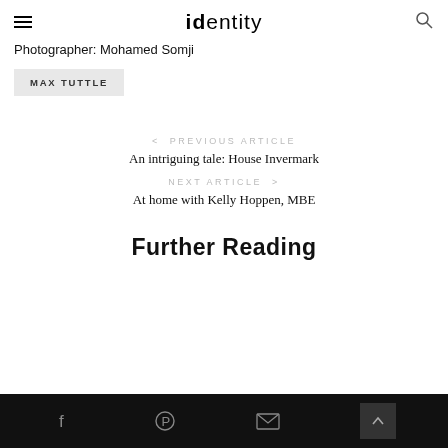identity
Photographer: Mohamed Somji
MAX TUTTLE
< PREVIOUS ARTICLE
An intriguing tale: House Invermark
NEXT ARTICLE >
At home with Kelly Hoppen, MBE
Further Reading
social icons: facebook, pinterest, email, scroll-to-top